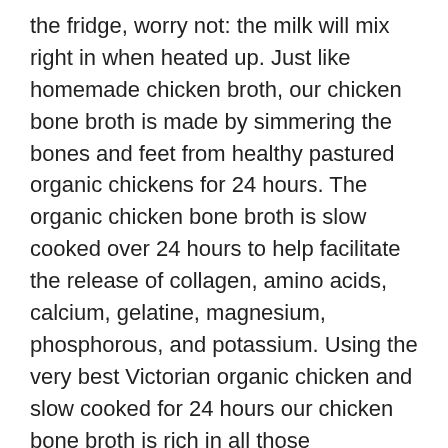the fridge, worry not: the milk will mix right in when heated up. Just like homemade chicken broth, our chicken bone broth is made by simmering the bones and feet from healthy pastured organic chickens for 24 hours. The organic chicken bone broth is slow cooked over 24 hours to help facilitate the release of collagen, amino acids, calcium, gelatine, magnesium, phosphorous, and potassium. Using the very best Victorian organic chicken and slow cooked for 24 hours our chicken bone broth is rich in all those wonderfully healing gelatinous compounds to support a resilient immune system and â¦ Add to cart. Browse our wide selection of Broth & Stocks for Delivery or Drive Up & Go to pick up at the store! Nutra Organics Chicken Bone Broth Garden Herb is naturally nourishing with Zinc and B Vitamins and Electrolytes keeping you feeling good